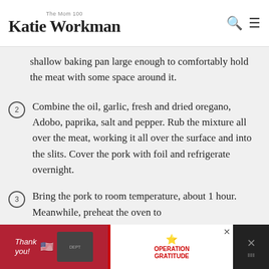The Mom 100 / Katie Workman
shallow baking pan large enough to comfortably hold the meat with some space around it.
2. Combine the oil, garlic, fresh and dried oregano, Adobo, paprika, salt and pepper. Rub the mixture all over the meat, working it all over the surface and into the slits. Cover the pork with foil and refrigerate overnight.
3. Bring the pork to room temperature, about 1 hour. Meanwhile, preheat the oven to
[Figure (screenshot): Advertisement banner: 'Thank you' with US flag and firefighters photo, Operation Gratitude logo, close button]